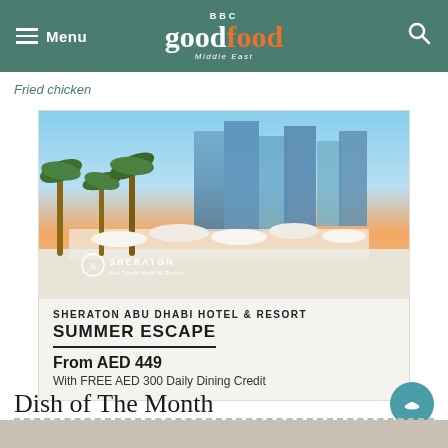BBC good food Middle East — Menu / Search
Fried chicken
[Figure (photo): Outdoor beach area of Sheraton Abu Dhabi Hotel & Resort with white umbrellas, lounge chairs, palm trees, and the hotel towers in the background at dusk. Sheraton Abu Dhabi Hotel & Resort logo visible in lower-left corner.]
SHERATON ABU DHABI HOTEL & RESORT
SUMMER ESCAPE
From AED 449
With FREE AED 300 Daily Dining Credit
Dish of The Month